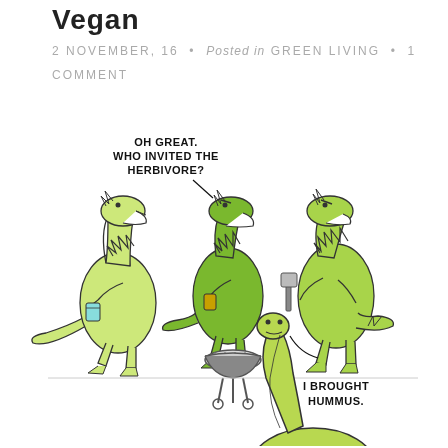Vegan
2 NOVEMBER, 16 · Posted in GREEN LIVING · 1 COMMENT
[Figure (illustration): A cartoon showing three green theropod dinosaurs at a barbecue grill. One says in a speech bubble 'OH GREAT. WHO INVITED THE HERBIVORE?' A fourth dinosaur — a long-necked sauropod — approaches from below and says in a speech bubble 'I BROUGHT HUMMUS.']